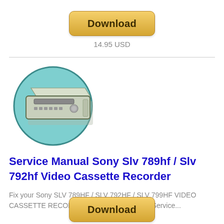[Figure (other): Golden download button at top center]
14.95 USD
[Figure (illustration): VCR/video cassette recorder illustration on a teal circular background]
Service Manual Sony Slv 789hf / Slv 792hf Video Cassette Recorder
Fix your Sony SLV 789HF / SLV 792HF / SLV 799HF VIDEO CASSETTE RECORDER with the help of this Service...
[Figure (other): Golden download button at bottom center]